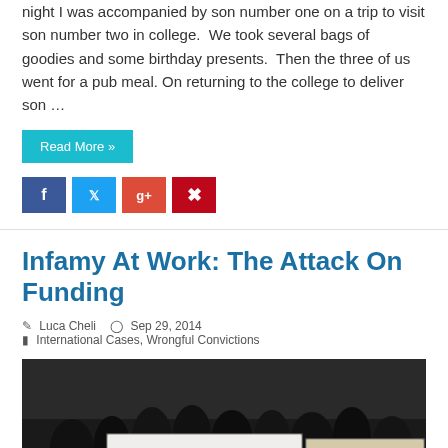night I was accompanied by son number one on a trip to visit son number two in college.  We took several bags of goodies and some birthday presents.  Then the three of us went for a pub meal. On returning to the college to deliver son …
Read More »
Infamy At Work: The Attack On Funding
Luca Cheli   Sep 29, 2014   International Cases, Wrongful Convictions
[Figure (photo): Black and white photograph of a protest crowd holding signs reading 'HUMAN RIGHTS FIRST' and 'TIME 4 TRUTH']